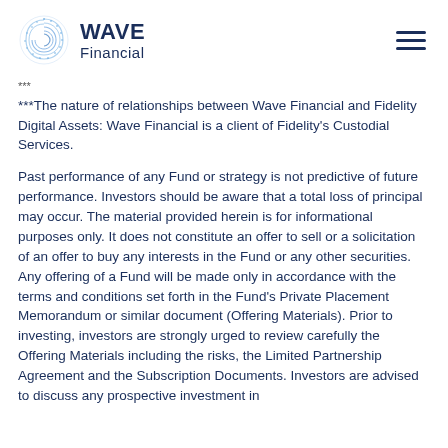WAVE Financial
***
***The nature of relationships between Wave Financial and Fidelity Digital Assets: Wave Financial is a client of Fidelity's Custodial Services.
Past performance of any Fund or strategy is not predictive of future performance. Investors should be aware that a total loss of principal may occur. The material provided herein is for informational purposes only. It does not constitute an offer to sell or a solicitation of an offer to buy any interests in the Fund or any other securities. Any offering of a Fund will be made only in accordance with the terms and conditions set forth in the Fund's Private Placement Memorandum or similar document (Offering Materials). Prior to investing, investors are strongly urged to review carefully the Offering Materials including the risks, the Limited Partnership Agreement and the Subscription Documents. Investors are advised to discuss any prospective investment in